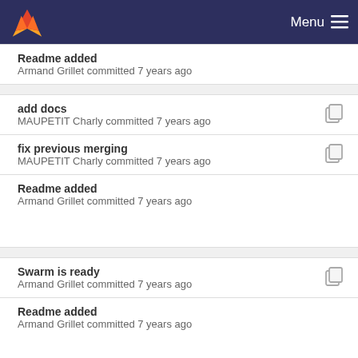Menu
Readme added
Armand Grillet committed 7 years ago
add docs
MAUPETIT Charly committed 7 years ago
fix previous merging
MAUPETIT Charly committed 7 years ago
Readme added
Armand Grillet committed 7 years ago
Swarm is ready
Armand Grillet committed 7 years ago
Readme added
Armand Grillet committed 7 years ago